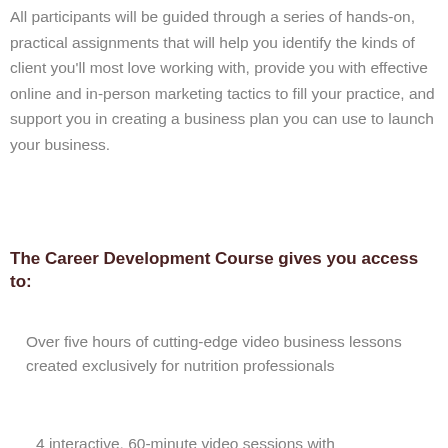All participants will be guided through a series of hands-on, practical assignments that will help you identify the kinds of client you'll most love working with, provide you with effective online and in-person marketing tactics to fill your practice, and support you in creating a business plan you can use to launch your business.
The Career Development Course gives you access to:
Over five hours of cutting-edge video business lessons created exclusively for nutrition professionals
4 interactive, 60-minute video sessions with